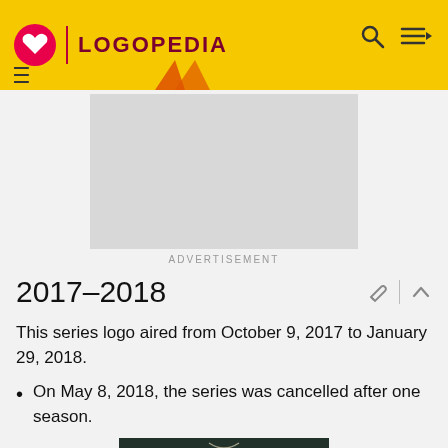LOGOPEDIA
[Figure (other): Advertisement placeholder block (gray rectangle) with 'ADVERTISEMENT' label below]
2017–2018
This series logo aired from October 9, 2017 to January 29, 2018.
On May 8, 2018, the series was cancelled after one season.
[Figure (photo): Dark photograph showing text/letters that appears to say 'WAR' or similar, with dog tag chain visible, styled as military/dark themed image]